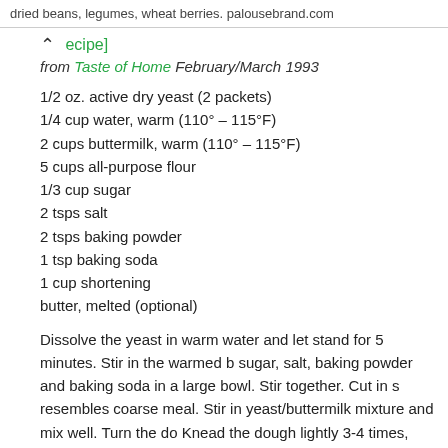dried beans, legumes, wheat berries. palousebrand.com
[recipe]
from Taste of Home February/March 1993
1/2 oz. active dry yeast (2 packets)
1/4 cup water, warm (110° – 115°F)
2 cups buttermilk, warm (110° – 115°F)
5 cups all-purpose flour
1/3 cup sugar
2 tsps salt
2 tsps baking powder
1 tsp baking soda
1 cup shortening
butter, melted (optional)
Dissolve the yeast in warm water and let stand for 5 minutes. Stir in the warmed buttermilk. Combine flour, sugar, salt, baking powder and baking soda in a large bowl. Stir together. Cut in shortening until mixture resembles coarse meal. Stir in yeast/buttermilk mixture and mix well. Turn the dough out on a floured surface. Knead the dough lightly 3-4 times, then roll out to about 1/2 inch in thickness. Cut into biscuits (making small ones would be great for appetizers – just roll them a little thinner or else they won't cook through). Place on a baking sheet. Cover and let rise in a warm place for about 1 1/2 hours. Bake at 400° for 10-15 minutes (400° worked like a charm for me). Lightly brush the tops with melted butter (I skipped this). Makes about 4 dozen.
January 28th, 2010: 11:20 pm
filed under baking, dairy, recipes, sandwiches, s
January 28th, 2010: 11:20 pm
filed under baking, dairy, recipes, sandwiches, s